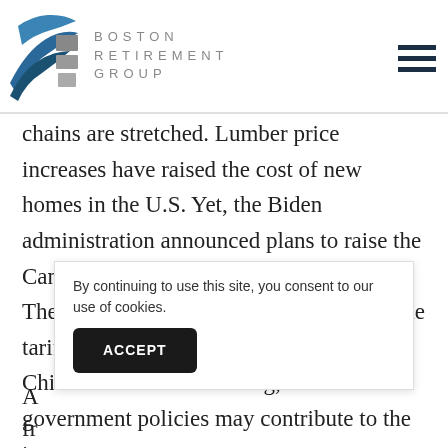[Figure (logo): Boston Retirement Group logo with blue wave graphic and gray text spelling BOSTON RETIREMENT GROUP]
chains are stretched. Lumber price increases have raised the cost of new homes in the U.S. Yet, the Biden administration announced plans to raise the Canadian timber tariff from 9% to 18%. The new administration has left in place the tariffs President Donald Trump put on China. With inflation rising, it seems government policies may contribute to the in...
By continuing to use this site, you consent to our use of cookies.
A
fr